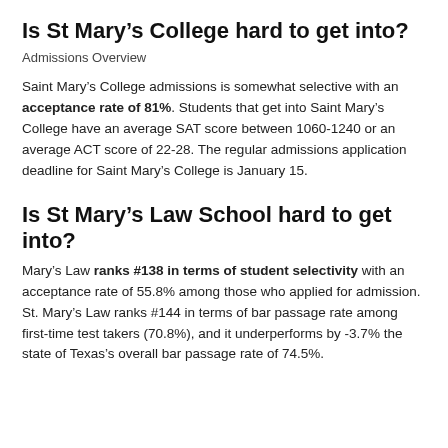Is St Mary's College hard to get into?
Admissions Overview
Saint Mary's College admissions is somewhat selective with an acceptance rate of 81%. Students that get into Saint Mary's College have an average SAT score between 1060-1240 or an average ACT score of 22-28. The regular admissions application deadline for Saint Mary's College is January 15.
Is St Mary's Law School hard to get into?
Mary's Law ranks #138 in terms of student selectivity with an acceptance rate of 55.8% among those who applied for admission. St. Mary's Law ranks #144 in terms of bar passage rate among first-time test takers (70.8%), and it underperforms by -3.7% the state of Texas's overall bar passage rate of 74.5%.